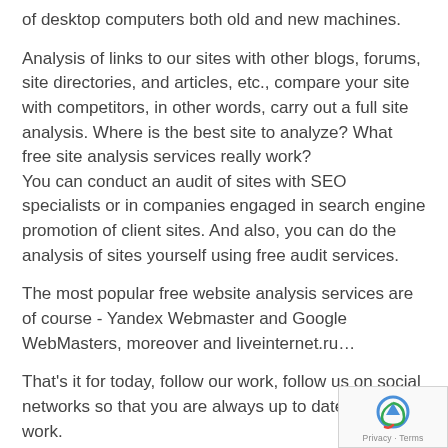of desktop computers both old and new machines.
Analysis of links to our sites with other blogs, forums, site directories, and articles, etc., compare your site with competitors, in other words, carry out a full site analysis. Where is the best site to analyze? What free site analysis services really work?
You can conduct an audit of sites with SEO specialists or in companies engaged in search engine promotion of client sites. And also, you can do the analysis of sites yourself using free audit services.
The most popular free website analysis services are of course - Yandex Webmaster and Google WebMasters, moreover and liveinternet.ru…
That's it for today, follow our work, follow us on social networks so that you are always up to date with our work.
We will do our best to help you as much as possible.
[Figure (logo): reCAPTCHA badge with privacy and terms link]